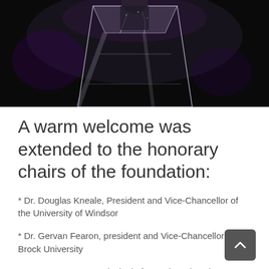[Figure (photo): A person standing at a clear acrylic lectern/podium on a dark stage, photographed from below/front angle. The podium is transparent with visible microphone cables.]
A warm welcome was extended to the honorary chairs of the foundation:
* Dr. Douglas Kneale, President and Vice-Chancellor of the University of Windsor
* Dr. Gervan Fearon, president and Vice-Chancellor of Brock University
* Dr. Susan Mumm, Principal of Brescia University College, Canada's only women's